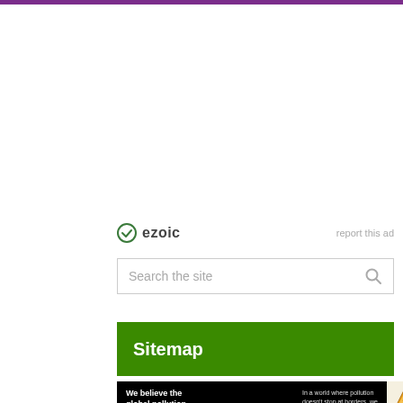[Figure (other): Purple horizontal bar at top of page]
[Figure (logo): Ezoic logo with green circle checkmark icon and bold text 'ezoic', with 'report this ad' text on the right]
[Figure (other): Search box with placeholder text 'Search the site' and a magnifying glass icon on the right]
Sitemap
[Figure (other): Black advertisement banner for Pure Earth reading: 'We believe the global pollution crisis can be solved.' with text 'In a world where pollution doesn't stop at borders, we can all be part of the solution. JOIN US.' and Pure Earth logo on right]